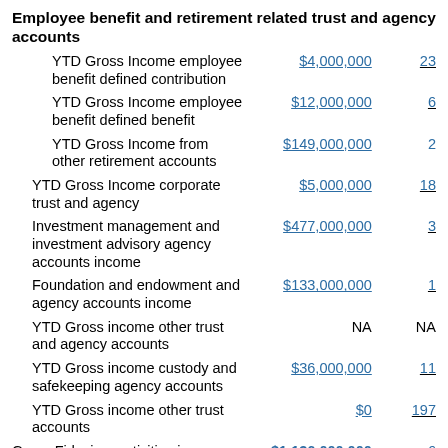Employee benefit and retirement related trust and agency accounts
| Description | Amount | Count |
| --- | --- | --- |
| YTD Gross Income employee benefit defined contribution | $4,000,000 | 23 |
| YTD Gross Income employee benefit defined benefit | $12,000,000 | 6 |
| YTD Gross Income from other retirement accounts | $149,000,000 | 2 |
| YTD Gross Income corporate trust and agency | $5,000,000 | 18 |
| Investment management and investment advisory agency accounts income | $477,000,000 | 3 |
| Foundation and endowment and agency accounts income | $133,000,000 | 1 |
| YTD Gross income other trust and agency accounts | NA | NA |
| YTD Gross income custody and safekeeping agency accounts | $36,000,000 | 11 |
| YTD Gross income other trust accounts | $0 | 197 |
| Gross Fiduciary activities income | $1,136,000,000 | 6 |
| YTD fiduciary expense (Dec. only) | NA | NA |